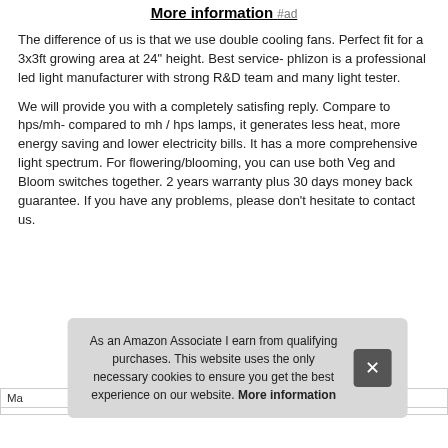More information #ad
The difference of us is that we use double cooling fans. Perfect fit for a 3x3ft growing area at 24" height. Best service- phlizon is a professional led light manufacturer with strong R&D team and many light tester.
We will provide you with a completely satisfing reply. Compare to hps/mh- compared to mh / hps lamps, it generates less heat, more energy saving and lower electricity bills. It has a more comprehensive light spectrum. For flowering/blooming, you can use both Veg and Bloom switches together. 2 years warranty plus 30 days money back guarantee. If you have any problems, please don't hesitate to contact us.
As an Amazon Associate I earn from qualifying purchases. This website uses the only necessary cookies to ensure you get the best experience on our website. More information
| Ma |
| --- |